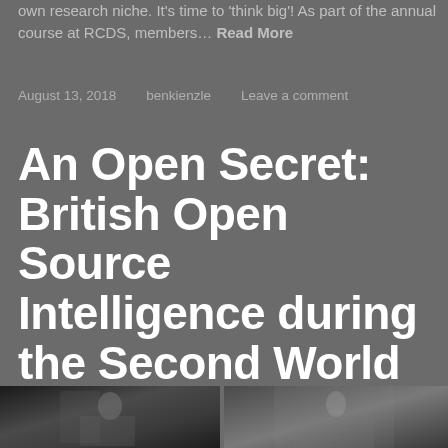own research niche. It's time to 'think big'! As part of the annual course at RCDS, members… Read More
August 13, 2018    benkienzle    Leave a comment
An Open Secret: British Open Source Intelligence during the Second World War
[Figure (photo): Two black and white photographs shown at the bottom of the page, partially cropped]